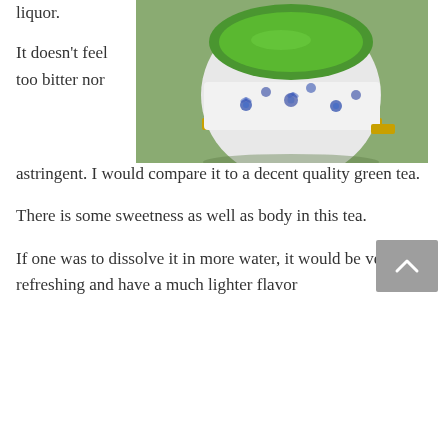liquor.
[Figure (photo): A cup of green tea in a white ceramic cup with blue floral pattern and gold rim, sitting on a green textured surface. The tea is bright green.]
It doesn't feel too bitter nor astringent. I would compare it to a decent quality green tea.
There is some sweetness as well as body in this tea.
If one was to dissolve it in more water, it would be very refreshing and have a much lighter flavor